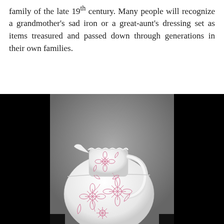family of the late 19th century. Many people will recognize a grandmother's sad iron or a great-aunt's dressing set as items treasured and passed down through generations in their own families.
[Figure (photo): A white ceramic pitcher/jug decorated with pink floral designs (flowers and leaves). The pitcher has a scalloped rim, a curved handle, and sits against a grey studio background with black panels on either side.]